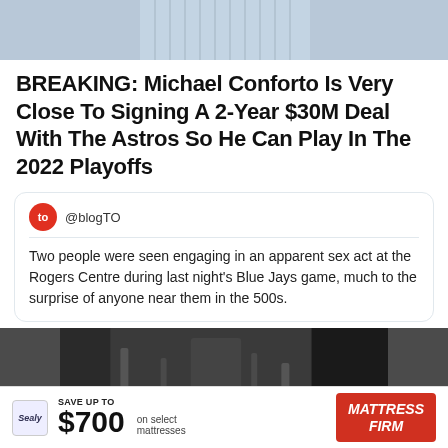[Figure (photo): Top portion of a person in a pinstripe baseball uniform, cropped to show torso only]
BREAKING: Michael Conforto Is Very Close To Signing A 2-Year $30M Deal With The Astros So He Can Play In The 2022 Playoffs
[Figure (screenshot): Tweet from @blogTO: Two people were seen engaging in an apparent sex act at the Rogers Centre during last night's Blue Jays game, much to the surprise of anyone near them in the 500s.]
[Figure (photo): Dark media player showing an interior corridor/stairwell of a stadium. Navigation buttons PREV on left and NEXT on right. Caption overlay reads: We Got A Hot New Angle Of The Blue Jays Game Sex, Folks!]
[Figure (other): Advertisement: Sealy logo, SAVE UP TO $700 on select mattresses, Mattress Firm logo in red]